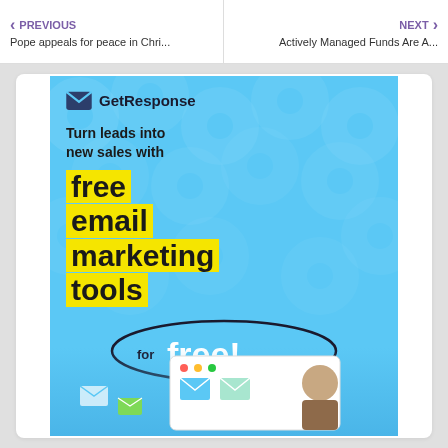PREVIOUS — Pope appeals for peace in Chri... | NEXT — Actively Managed Funds Are A...
[Figure (illustration): GetResponse advertisement banner on light blue background with circle pattern. Shows GetResponse logo with envelope icon, tagline 'Turn leads into new sales with', large yellow-highlighted text 'free email marketing tools', oval speech-bubble with 'for free!', and bottom section showing email interface mockup with person and envelope icons.]